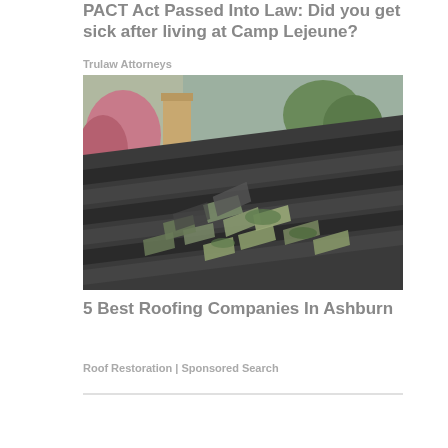PACT Act Passed Into Law: Did you get sick after living at Camp Lejeune?
Trulaw Attorneys
[Figure (photo): Damaged roof with broken and peeling dark asphalt shingles, chimney and trees visible in background]
5 Best Roofing Companies In Ashburn
Roof Restoration | Sponsored Search